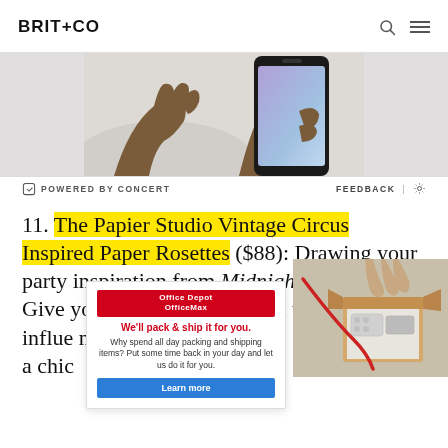BRIT+CO
[Figure (illustration): Illustration of two hands holding and interacting with a smartphone, shown from below on a light gray background. Below the illustration is a bar reading POWERED BY CONCERT and FEEDBACK with a gear icon.]
11. The Papier Studio Vintage Circus Inspired Paper Rosettes ($88): Drawing your party inspiration from Midnight in Paris? Give your Bastille Day bash a ... tes influe... need is a chic
[Figure (infographic): Advertisement overlay: Office Depot OfficeMax logo in red. Headline: We'll pack & ship it for you. Body: Why spend all day packing and shipping items? Put some time back in your day and let us do it for you. Button: Learn more. Adjacent photo shows hands over a shipping box with packing materials.]